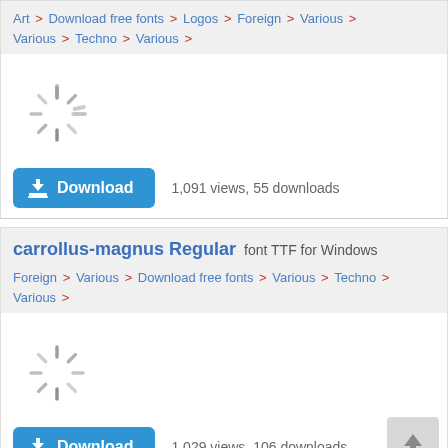Art > Download free fonts > Logos > Foreign > Various > Various > Techno > Various >
[Figure (other): Loading spinner icon (gray radiating lines)]
Download   1,091 views, 55 downloads
carrollus-magnus Regular  font TTF for Windows
Foreign > Various > Download free fonts > Various > Techno > Various >
[Figure (other): Loading spinner icon (gray radiating lines)]
Download   1,029 views, 106 downloads